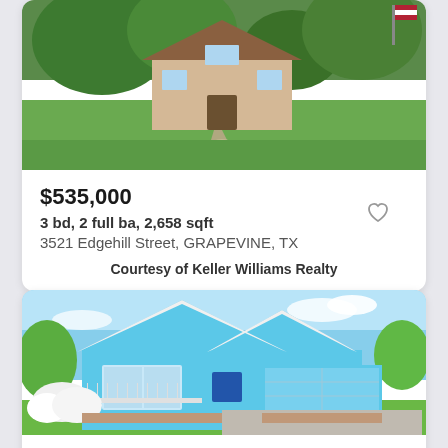[Figure (photo): Aerial/front view of a house with lush green lawn, trees, stone pathway, and American flag. First listing photo.]
$535,000
3 bd, 2 full ba, 2,658 sqft
3521 Edgehill Street, GRAPEVINE, TX
Courtesy of Keller Williams Realty
[Figure (photo): Front exterior of a light blue craftsman-style two-story home with white trim, covered porch, two-car garage, and landscaped yard with white flowering bushes and green lawn. Second listing photo.]
$635,000